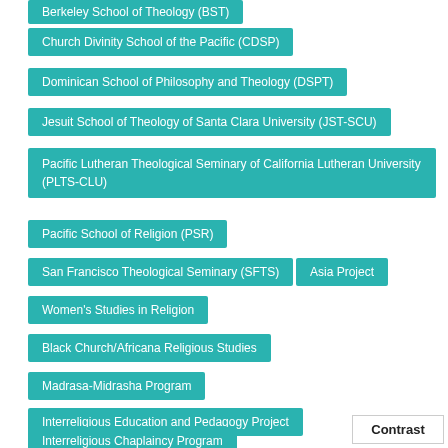Berkeley School of Theology (BST)
Church Divinity School of the Pacific (CDSP)
Dominican School of Philosophy and Theology (DSPT)
Jesuit School of Theology of Santa Clara University (JST-SCU)
Pacific Lutheran Theological Seminary of California Lutheran University (PLTS-CLU)
Pacific School of Religion (PSR)
San Francisco Theological Seminary (SFTS)
Asia Project
Women's Studies in Religion
Black Church/Africana Religious Studies
Madrasa-Midrasha Program
Interreligious Education and Pedagogy Project
Interreligious Chaplaincy Program
Contrast